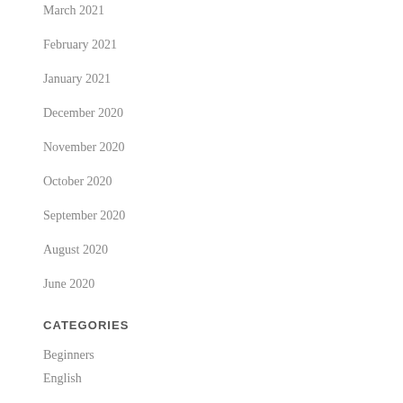March 2021
February 2021
January 2021
December 2020
November 2020
October 2020
September 2020
August 2020
June 2020
CATEGORIES
Beginners
English
Free to view
Hope Foundation